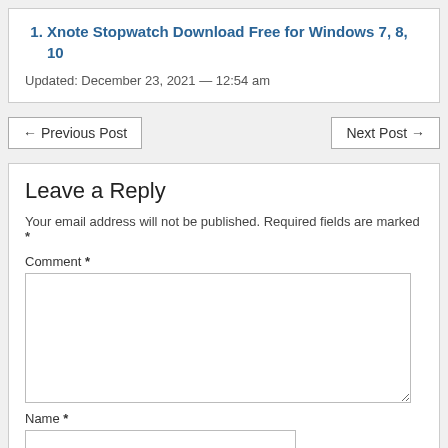1. Xnote Stopwatch Download Free for Windows 7, 8, 10
Updated: December 23, 2021 — 12:54 am
← Previous Post
Next Post →
Leave a Reply
Your email address will not be published. Required fields are marked *
Comment *
Name *
Email *